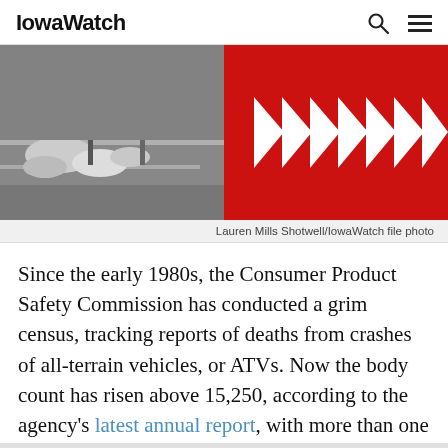IowaWatch
[Figure (photo): Composite image: left half shows a black and white photo of snow/rocks near a road; right half shows a red background with white left-pointing triangle/chevron shapes arranged in a row.]
Lauren Mills Shotwell/IowaWatch file photo
Since the early 1980s, the Consumer Product Safety Commission has conducted a grim census, tracking reports of deaths from crashes of all-terrain vehicles, or ATVs. Now the body count has risen above 15,250, according to the agency's latest annual report, with more than one in five of the deaths suffered by children under 16.